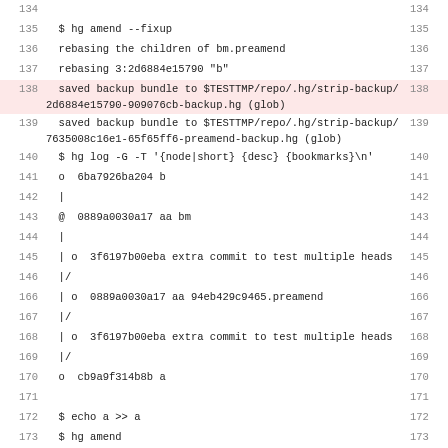Code listing lines 134-173 showing Mercurial hg commands and output
134
135  $ hg amend --fixup
136  rebasing the children of bm.preamend
137  rebasing 3:2d6884e15790 "b"
138  saved backup bundle to $TESTTMP/repo/.hg/strip-backup/2d6884e15790-909076cb-backup.hg (glob)
139  saved backup bundle to $TESTTMP/repo/.hg/strip-backup/7635008c16e1-65f65ff6-preamend-backup.hg (glob)
140  $ hg log -G -T '{node|short} {desc} {bookmarks}\n'
141  o  6ba7926ba204 b
142  |
143  @  0889a0030a17 aa bm
144  |
145  | o  3f6197b00eba extra commit to test multiple heads
146  |/
166  | o  0889a0030a17 aa 94eb429c9465.preamend
167  |/
168  | o  3f6197b00eba extra commit to test multiple heads
169  |/
170  o  cb9a9f314b8b a
171
172  $ echo a >> a
173  $ hg amend